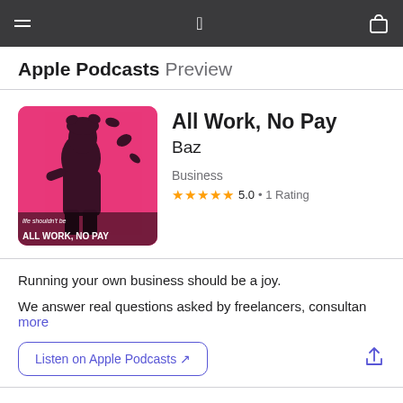Apple Podcasts Preview
All Work, No Pay
Baz
Business
★★★★★ 5.0 • 1 Rating
[Figure (illustration): Pink podcast cover art showing a stylized figure with text 'life shouldn't be' and 'ALL WORK, NO PAY' at the bottom]
Running your own business should be a joy.
We answer real questions asked by freelancers, consultan more
Listen on Apple Podcasts ↗